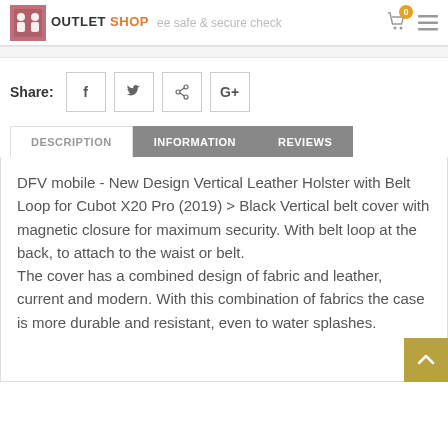OUTLET SHOP  ee safe & secure check  0
Share:
DFV mobile - New Design Vertical Leather Holster with Belt Loop for Cubot X20 Pro (2019) > Black Vertical belt cover with magnetic closure for maximum security. With belt loop at the back, to attach to the waist or belt. The cover has a combined design of fabric and leather, current and modern. With this combination of fabrics the case is more durable and resistant, even to water splashes.